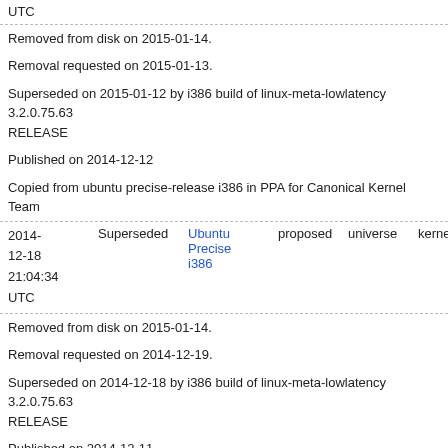UTC
Removed from disk on 2015-01-14.
Removal requested on 2015-01-13.
Superseded on 2015-01-12 by i386 build of linux-meta-lowlatency 3.2.0.75.63 RELEASE
Published on 2014-12-12
Copied from ubuntu precise-release i386 in PPA for Canonical Kernel Team
| Date | Status | Archive | Pocket | Component | Section | Options |
| --- | --- | --- | --- | --- | --- | --- |
| 2014-12-18 21:04:34 UTC | Superseded | Ubuntu Precise i386 | proposed | universe | kernel | Optic |
Removed from disk on 2015-01-14.
Removal requested on 2014-12-19.
Superseded on 2014-12-18 by i386 build of linux-meta-lowlatency 3.2.0.75.63 RELEASE
Published on 2014-12-11
Copied from ubuntu precise-release i386 in PPA for Canonical Kernel Team
| Date | Status | Archive | Pocket | Component | Section | Options |
| --- | --- | --- | --- | --- | --- | --- |
| 2014-12-12 11:48:32 UTC | Superseded | Ubuntu Precise i386 | security | universe | kernel | Optic |